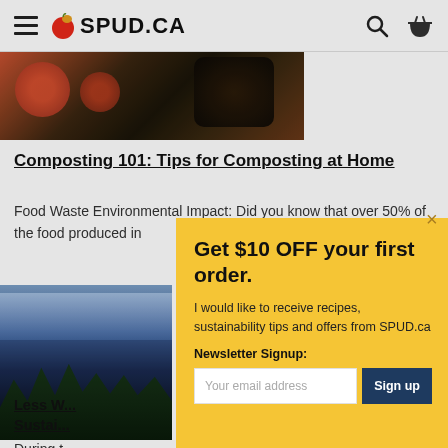SPUD.CA
[Figure (photo): Cropped photo of composting materials including vegetables and soil]
Composting 101: Tips for Composting at Home
Food Waste Environmental Impact: Did you know that over 50% of the food produced in
[Figure (photo): Photo of snowy mountain landscape with evergreen trees]
Less W... Sustai...
During t...
[Figure (screenshot): Modal popup with yellow background offering $10 off first order with newsletter signup]
Get $10 OFF your first order.
I would like to receive recipes, sustainability tips and offers from SPUD.ca
Newsletter Signup:
Your email address